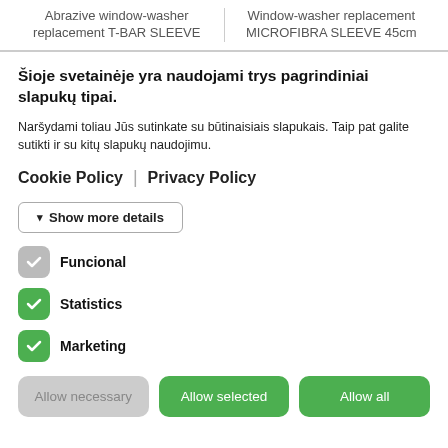Abrazive window-washer replacement T-BAR SLEEVE | Window-washer replacement MICROFIBRA SLEEVE 45cm
Šioje svetainėje yra naudojami trys pagrindiniai slapukų tipai.
Naršydami toliau Jūs sutinkate su būtinaisiais slapukais. Taip pat galite sutikti ir su kitų slapukų naudojimu.
Cookie Policy | Privacy Policy
▾ Show more details
Funcional
Statistics
Marketing
Allow necessary | Allow selected | Allow all